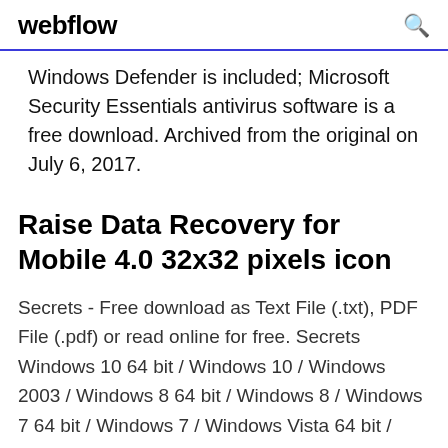webflow
Windows Defender is included; Microsoft Security Essentials antivirus software is a free download. Archived from the original on July 6, 2017.
Raise Data Recovery for Mobile 4.0 32x32 pixels icon
Secrets - Free download as Text File (.txt), PDF File (.pdf) or read online for free. Secrets Windows 10 64 bit / Windows 10 / Windows 2003 / Windows 8 64 bit / Windows 8 / Windows 7 64 bit / Windows 7 / Windows Vista 64 bit / Windows Vista / Windows XP windows 7